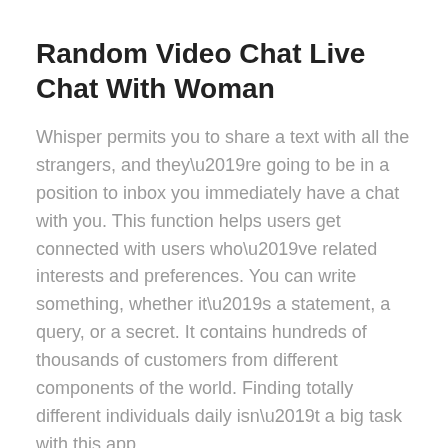Random Video Chat Live Chat With Woman
Whisper permits you to share a text with all the strangers, and they’re going to be in a position to inbox you immediately have a chat with you. This function helps users get connected with users who’ve related interests and preferences. You can write something, whether it’s a statement, a query, or a secret. It contains hundreds of thousands of customers from different components of the world. Finding totally different individuals daily isn’t a big task with this app.